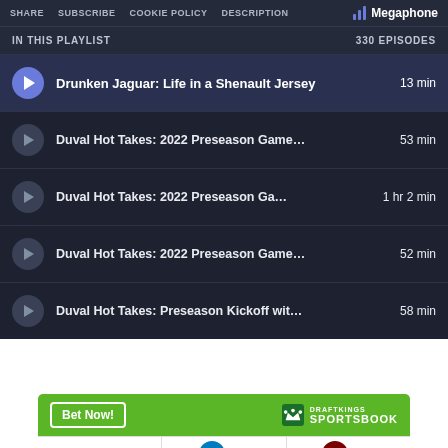SHARE  SUBSCRIBE  COOKIE POLICY  DESCRIPTION  Megaphone
IN THIS PLAYLIST  330 EPISODES
Drunken Jaguar: Life in a Shenault Jersey  13 min
Duval Hot Takes: 2022 Preseason Game...53 min
Duval Hot Takes: 2022 Preseason Ga...1 hr 2 min
Duval Hot Takes: 2022 Preseason Game...52 min
Duval Hot Takes: Preseason Kickoff wit... 58 min
[Figure (screenshot): DraftKings Sportsbook banner with Bet Now button and team logos for JAC vs WAS]